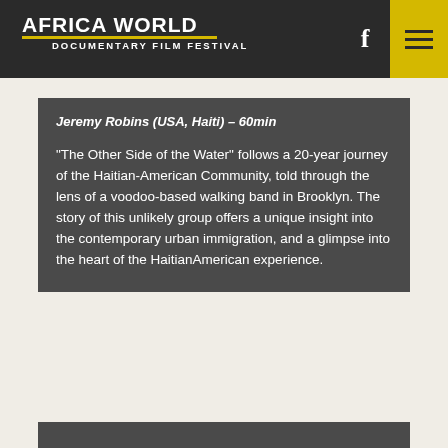AFRICA WORLD DOCUMENTARY FILM FESTIVAL
Jeremy Robins (USA, Haiti) – 60min
"The Other Side of the Water" follows a 20-year journey of the Haitian-American Community, told through the lens of a voodoo-based walking band in Brooklyn. The story of this unlikely group offers a unique insight into the contemporary urban immigration, and a glimpse into the heart of the HaitianAmerican experience.